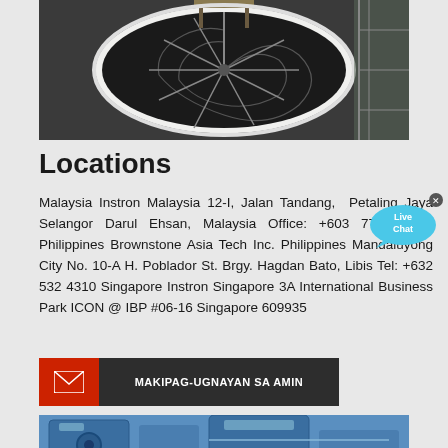[Figure (photo): Aerial/top-down view of a large industrial circular silo or tank with spiral conveyor mechanism inside, photographed from above in a warehouse or factory setting]
Locations
Malaysia Instron Malaysia 12-I, Jalan Tandang, Petaling Jaya Selangor Darul Ehsan, Malaysia Office: +603 7770 1319 Philippines Brownstone Asia Tech Inc. Philippines Mandaluyong City No. 10-A H. Poblador St. Brgy. Hagdan Bato, Libis Tel: +632 532 4310 Singapore Instron Singapore 3A International Business Park ICON @ IBP #06-16 Singapore 609935
[Figure (other): Live Chat speech bubble widget in cyan/blue color with 'Live Chat' text and an X close button]
MAKIPAG-UGNAYAN SA AMIN
[Figure (photo): Industrial blue heavy machinery equipment in a factory or warehouse setting]